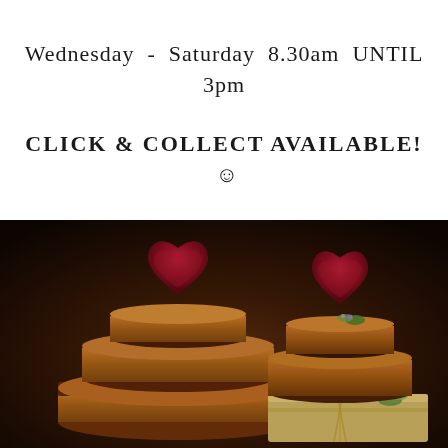Wednesday - Saturday 8.30am UNTIL 3pm
CLICK & COLLECT AVAILABLE! 😊
[Figure (photo): Two stacked cheese wheel 'cakes' displayed side by side, each topped with a deep red heart-shaped cheese. Left stack has three tiers of waxed brown/orange cheese wheels. Right stack has two visible tiers with floral herb decorations and raffia twine wrapping. Dark warm-toned background.]